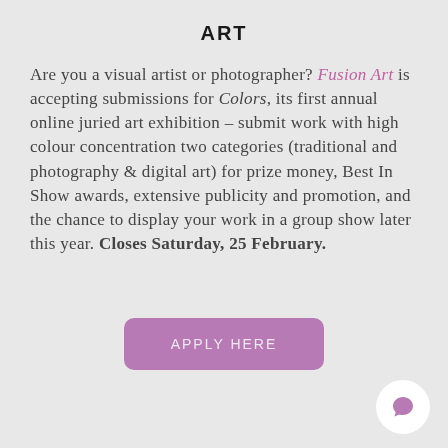ART
Are you a visual artist or photographer? Fusion Art is accepting submissions for Colors, its first annual online juried art exhibition – submit work with high colour concentration two categories (traditional and photography & digital art) for prize money, Best In Show awards, extensive publicity and promotion, and the chance to display your work in a group show later this year. Closes Saturday, 25 February.
[Figure (other): A mauve/purple rounded rectangle button with text APPLY HERE in light letters]
[Figure (other): A white circular chat bubble icon in the bottom right corner]